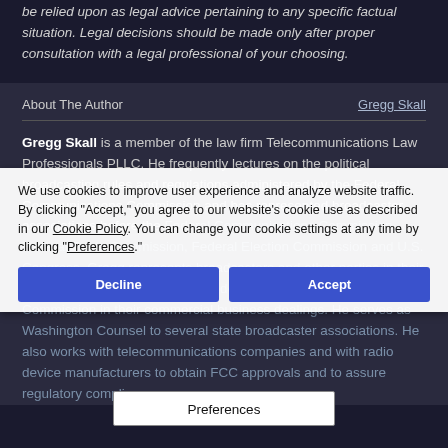be relied upon as legal advice pertaining to any specific factual situation. Legal decisions should be made only after proper consultation with a legal professional of your choosing.
About The Author
Gregg Skall is a member of the law firm Telecommunications Law Professionals PLLC. He frequently lectures on the political broadcasting rules and regulations administered by the Federal Communications Commission and has represented broadcaster associations before the Federal Communications Commission, Federal Trade Commission, Federal Election Commission and U.S. Congress. Gregg represents broadcasters and other parties in their regulatory dealings before the Federal Communications Commission in their commercial business dealings. He serves as Washington Counsel to several state broadcaster associations. He also works with telecommunications companies and with radio device manufacturers to obtain FCC approvals and to assure regulatory compliance.
We use cookies to improve user experience and analyze website traffic. By clicking "Accept," you agree to our website's cookie use as described in our Cookie Policy. You can change your cookie settings at any time by clicking "Preferences."
Preferences